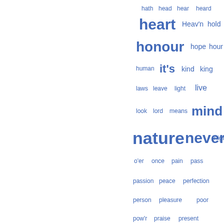[Figure (other): Word cloud in blue showing terms related to literary/poetic text. Words vary in size indicating frequency. Visible words include: hath, head, hear, heard, heart, Heav'n, hold, honour, hope, hour, human, it's, kind, king, laws, leave, light, live, look, lord, means, mind, nature, never, night, o'er, once, pain, pass, passion, peace, perfection, person, pleasure, poor, pow'r, praise, present, reason, rest, round, sense, serve, side, soon, soul, sound, speak, spirit, stand, sweet, taste, tears, tell, thee, thing, thou, thought, thousand, true, truth, turn, uncle, virtue]